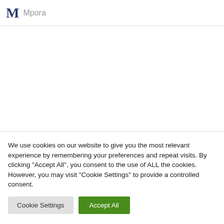Mpora
We use cookies on our website to give you the most relevant experience by remembering your preferences and repeat visits. By clicking “Accept All”, you consent to the use of ALL the cookies. However, you may visit "Cookie Settings" to provide a controlled consent.
Cookie Settings | Accept All